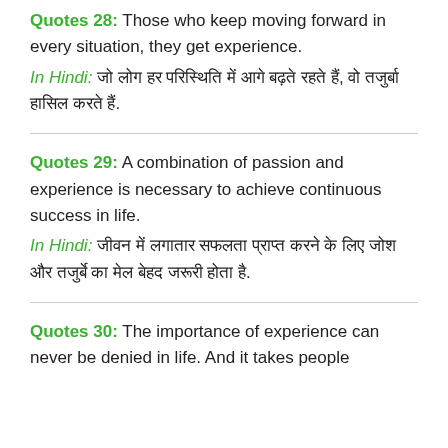Quotes 28: Those who keep moving forward in every situation, they get experience.
In Hindi: जो लोग हर परिस्थिति में आगे बढ़ते रहते हैं, वो तजुर्बा हासिल करते हैं.
Quotes 29: A combination of passion and experience is necessary to achieve continuous success in life.
In Hindi: जीवन में लगातार सफलता प्राप्त करने के लिए जोश और तजुर्बे का मेल बेहद जरूरी होता है.
Quotes 30: The importance of experience can never be denied in life. And it takes people